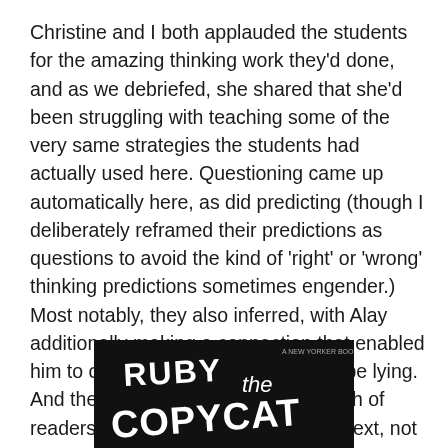Christine and I both applauded the students for the amazing thinking work they'd done, and as we debriefed, she shared that she'd been struggling with teaching some of the very same strategies the students had actually used here. Questioning came up automatically here, as did predicting (though I deliberately reframed their predictions as questions to avoid the kind of 'right' or 'wrong' thinking predictions sometimes engender.) Most notably, they also inferred, with Alay additionally making a connection that enabled him to consider that the rabbit might be lying. And they did so as a natural outgrowth of readers trying to make meaning of a text, not through a typical strategy lesson.
[Figure (photo): Book cover of 'Ruby the Copycat' shown in black and white with stylized white hand-lettered text on dark background]